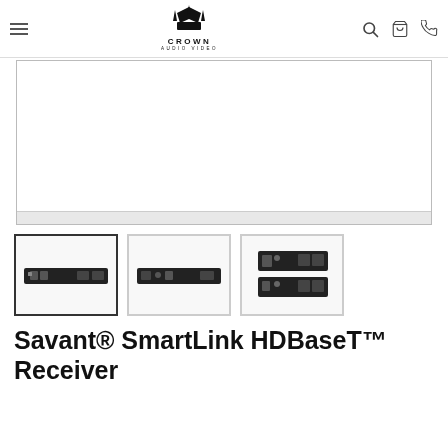Crown Audio Video — navigation header with hamburger menu, logo, search, cart, phone icons
[Figure (photo): Main product image frame showing Savant SmartLink HDBaseT Receiver device (partially visible, mostly white space)]
[Figure (photo): Thumbnail 1 (active/selected): Savant SmartLink HDBaseT Receiver front view showing dark hardware bar with ports]
[Figure (photo): Thumbnail 2: Savant SmartLink HDBaseT Receiver side/back view showing dark hardware bar with ports]
[Figure (photo): Thumbnail 3: Savant SmartLink HDBaseT Receiver showing two stacked dark hardware bars]
Savant® SmartLink HDBaseT™ Receiver